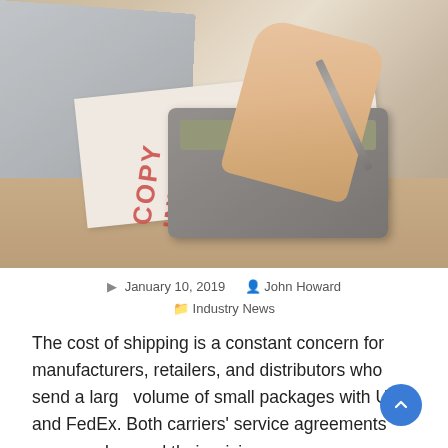[Figure (photo): A person's hand holding a pen pressing on a calculator, with an invoice document and a laptop in the background, on a wooden desk]
January 10, 2019   John Howard   Industry News
The cost of shipping is a constant concern for manufacturers, retailers, and distributors who send a large volume of small packages with UPS and FedEx. Both carriers' service agreements are complex, and their pricing